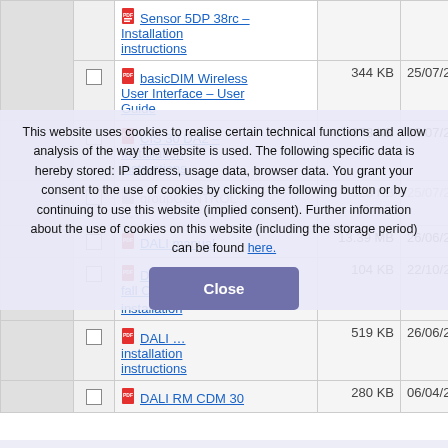|  |  | Name | Size | Date | Badge |
| --- | --- | --- | --- | --- | --- |
|  |  | Sensor 5DP 38rc – Installation instructions |  |  |  |
|  | ☐ | basicDIM Wireless User Interface – User Guide | 344 KB | 25/07/2022 | new |
|  | ☐ | CIS 30 DA2 – Installation instructions | 678 KB | 25/07/2022 | new |
|  | ☐ | groupCONTROL … | 328 KB | 25/07/2022 | new |
|  | ☐ | DALI manual | 13.39 MB | 26/06/2020 |  |
|  | ☐ | DALI RCD 1-700 … installation CO2 | 104 KB | 22/10/2020 |  |
|  | ☐ | DALI … installation instructions | 519 KB | 26/06/2020 |  |
|  | ☐ | DALI RM CDM 30 | 280 KB | 06/04/2021 |  |
This website uses cookies to realise certain technical functions and allow analysis of the way the website is used. The following specific data is hereby stored: IP address, usage data, browser data. You grant your consent to the use of cookies by clicking the following button or by continuing to use this website (implied consent). Further information about the use of cookies on this website (including the storage period) can be found here.